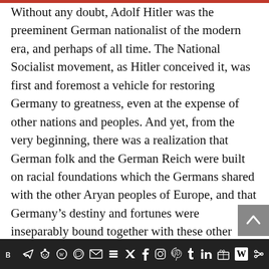Without any doubt, Adolf Hitler was the preeminent German nationalist of the modern era, and perhaps of all time. The National Socialist movement, as Hitler conceived it, was first and foremost a vehicle for restoring Germany to greatness, even at the expense of other nations and peoples. And yet, from the very beginning, there was a realization that German folk and the German Reich were built on racial foundations which the Germans shared with the other Aryan peoples of Europe, and that Germany's destiny and fortunes were inseparably bound together with these other Aryan nations. In particular, Hitler recognized England as a great brother-nation of the German folk.
Social media sharing icons bar